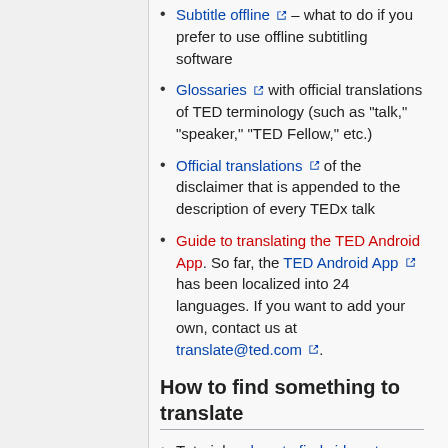Subtitle offline – what to do if you prefer to use offline subtitling software
Glossaries [link] with official translations of TED terminology (such as "talk," "speaker," "TED Fellow," etc.)
Official translations [link] of the disclaimer that is appended to the description of every TEDx talk
Guide to translating the TED Android App [link]. So far, the TED Android App [link] has been localized into 24 languages. If you want to add your own, contact us at translate@ted.com [link].
How to find something to translate
Tutorial on how to find videos to subtitle [link]